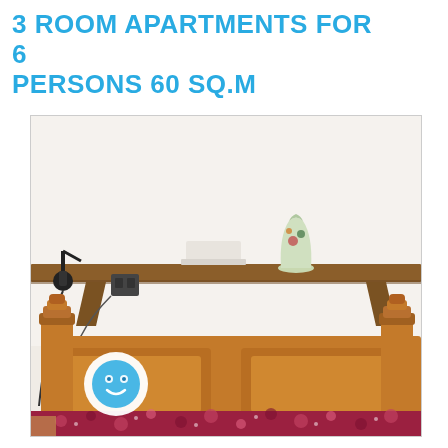3 ROOM APARTMENTS FOR 6 PERSONS 60 SQ.M
[Figure (photo): Interior photo of a bedroom with a wooden headboard bed covered in red floral bedding, a long wooden wall shelf above with a decorative vase and white bowl, a wall light on the left, and a small cookie/logo icon circle overlay in the bottom-left corner.]